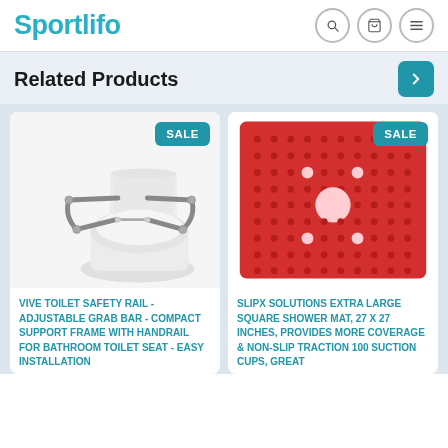Sportlifo
Related Products
[Figure (photo): Toilet safety rail/grab bar product photo with SALE badge]
VIVE TOILET SAFETY RAIL - ADJUSTABLE GRAB BAR - COMPACT SUPPORT FRAME WITH HANDRAIL FOR BATHROOM TOILET SEAT - EASY INSTALLATION
[Figure (photo): Red square shower mat with suction cups and holes, with SALE badge]
SLIPX SOLUTIONS EXTRA LARGE SQUARE SHOWER MAT, 27 X 27 INCHES, PROVIDES MORE COVERAGE & NON-SLIP TRACTION 100 SUCTION CUPS, GREAT